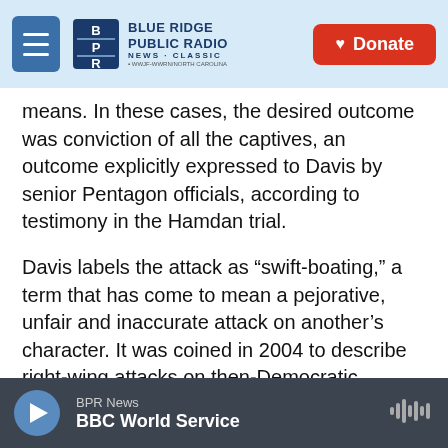Blue Ridge Public Radio — Navigation and Donate button
means.  In these cases, the desired outcome was conviction of all the captives, an outcome explicitly expressed to Davis by senior Pentagon officials, according to testimony in the Hamdan trial.
Davis labels the attack as “swift-boating,” a term that has come to mean a pejorative, unfair and inaccurate attack on another’s character.  It was coined in 2004 to describe right-wing attacks on then-Democratic presidential-candidate John Kerry for his Vietnam War service on the small, heavily armed craft of that name.   Although Kerry had been recognized for valor, supporters of his
BPR News
BBC World Service